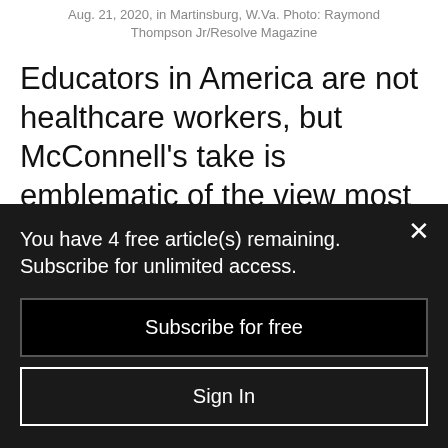Aug. 21, 2020, in Martinsburg, W.Va. Photo: Raymond Thompson Jr/Resolve Magazine
Educators in America are not healthcare workers, but McConnell's take is emblematic of the view most of America has of schools. Public schools are the catch-all – the societal safety net. In addition to an education, we feed kids that need to be fed and, in some
You have 4 free article(s) remaining. Subscribe for unlimited access.
Subscribe for free
Sign In